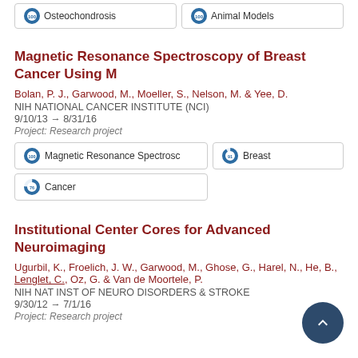[Figure (infographic): Two tag boxes at top: 'Osteochondrosis' and 'Animal Models' with donut/percentage icons]
Magnetic Resonance Spectroscopy of Breast Cancer Using M
Bolan, P. J., Garwood, M., Moeller, S., Nelson, M. & Yee, D.
NIH NATIONAL CANCER INSTITUTE (NCI)
9/10/13 → 8/31/16
Project: Research project
[Figure (infographic): Tag boxes: '100% Magnetic Resonance Spectrosc', '91% Breast', '76% Cancer']
Institutional Center Cores for Advanced Neuroimaging
Ugurbil, K., Froelich, J. W., Garwood, M., Ghose, G., Harel, N., He, B., Lenglet, C., Oz, G. & Van de Moortele, P.
NIH NAT INST OF NEURO DISORDERS & STROKE
9/30/12 → 7/1/16
Project: Research project